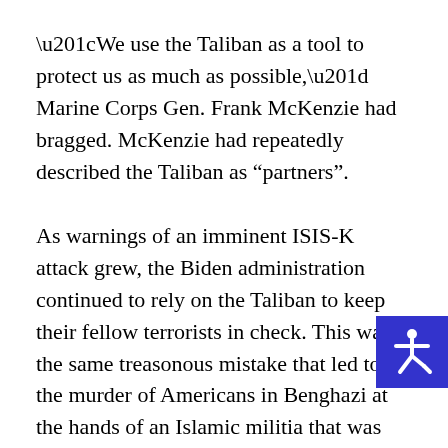“We use the Taliban as a tool to protect us as much as possible,” Marine Corps Gen. Frank McKenzie had bragged. McKenzie had repeatedly described the Taliban as "partners".
As warnings of an imminent ISIS-K attack grew, the Biden administration continued to rely on the Taliban to keep their fellow terrorists in check. This was the same treasonous mistake that led to the murder of Americans in Benghazi at the hands of an Islamic militia that was being paid to protect them from other Jihadis. It was also how the British lo[st] thousands of soldiers during the disastrous retreat from Kabul in 1842. But Biden, Austin, and Milley